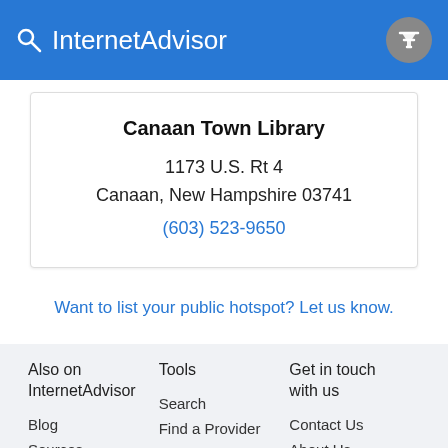InternetAdvisor
Canaan Town Library
1173 U.S. Rt 4
Canaan, New Hampshire 03741
(603) 523-9650
Want to list your public hotspot? Let us know.
Also on InternetAdvisor
Blog
Sources
Tools
Search
Find a Provider
Speed Test
Get in touch with us
Contact Us
About Us